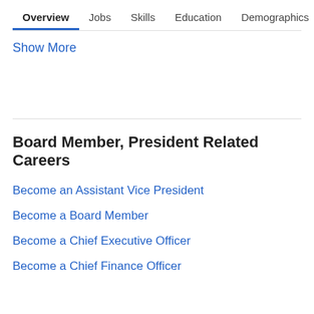Overview  Jobs  Skills  Education  Demographics  T>
Show More
Board Member, President Related Careers
Become an Assistant Vice President
Become a Board Member
Become a Chief Executive Officer
Become a Chief Finance Officer